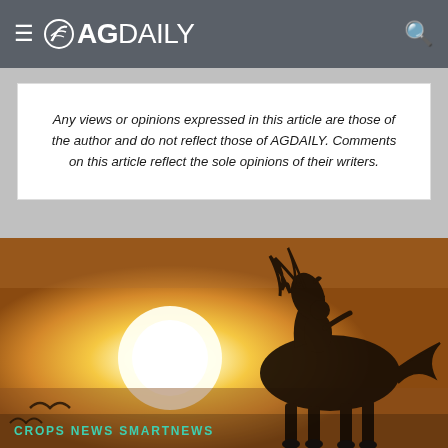AGDAILY
Any views or opinions expressed in this article are those of the author and do not reflect those of AGDAILY. Comments on this article reflect the sole opinions of their writers.
[Figure (photo): Silhouette of a horse and rider against a bright golden sunset sky, with mane blowing in the wind.]
CROPS NEWS SMARTNEWS